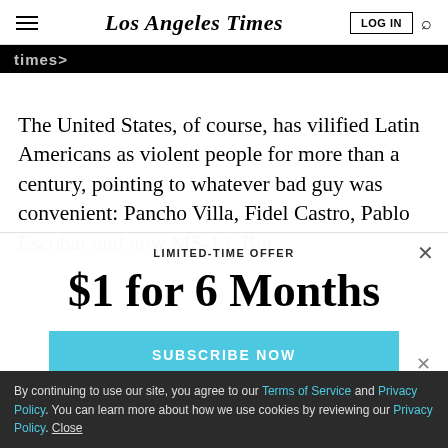Los Angeles Times
[Figure (screenshot): Black banner with partial white bold text visible (partially cropped)]
The United States, of course, has vilified Latin Americans as violent people for more than a century, pointing to whatever bad guy was convenient: Pancho Villa, Fidel Castro, Pablo Escobar and now MS-13. But
LIMITED-TIME OFFER
$1 for 6 Months
SUBSCRIBE NOW
By continuing to use our site, you agree to our Terms of Service and Privacy Policy. You can learn more about how we use cookies by reviewing our Privacy Policy. Close